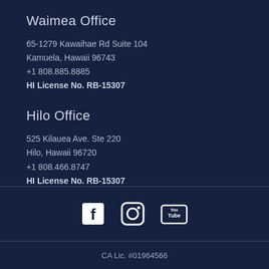Waimea Office
65-1279 Kawaihae Rd Suite 104
Kamuela, Hawaii 96743
+1 808.885.8885
HI License No. RB-15307
Hilo Office
525 Kilauea Ave. Ste 220
Hilo, Hawaii 96720
+1 808.466.8747
HI License No. RB-15307
[Figure (infographic): Social media icons: Facebook, Instagram, YouTube]
CA Lic. #01964566